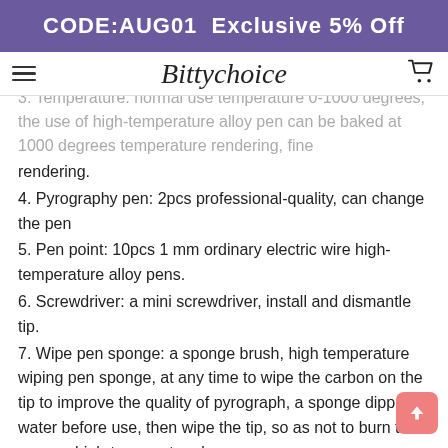CODE:AUG01  Exclusive 5% Off
2. Power: 50W real
3. Temperature: normal use temperature 0-1000 degrees, the use of high-temperature alloy pen can be baked at 1000 degrees temperature rendering, fine rendering.
4. Pyrography pen: 2pcs professional-quality, can change the pen
5. Pen point: 10pcs 1 mm ordinary electric wire high-temperature alloy pens.
6. Screwdriver: a mini screwdriver, install and dismantle tip.
7. Wipe pen sponge: a sponge brush, high temperature wiping pen sponge, at any time to wipe the carbon on the tip to improve the quality of pyrograph, a sponge dipped in water before use, then wipe the tip, so as not to burn the sponge high-temperature burn.